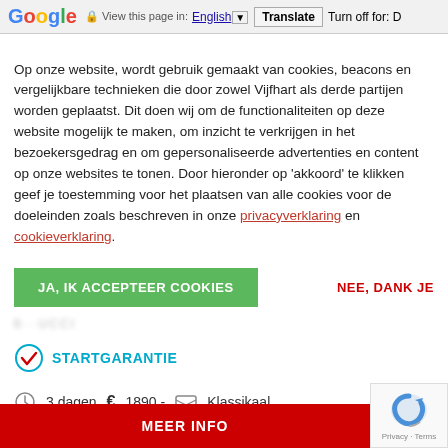Google  View this page in: English [▼]  Translate  Turn off for: D
Op onze website, wordt gebruik gemaakt van cookies, beacons en vergelijkbare technieken die door zowel Vijfhart als derde partijen worden geplaatst. Dit doen wij om de functionaliteiten op deze website mogelijk te maken, om inzicht te verkrijgen in het bezoekersgedrag en om gepersonaliseerde advertenties en content op onze websites te tonen. Door hieronder op 'akkoord' te klikken geef je toestemming voor het plaatsen van alle cookies voor de doeleinden zoals beschreven in onze privacyverklaring en cookieverklaring.
JA, IK ACCEPTEER COOKIES
NEE, DANK JE
STARTGARANTIE
3 dagen  €  1890,-  Klassikaal
MEER INFO